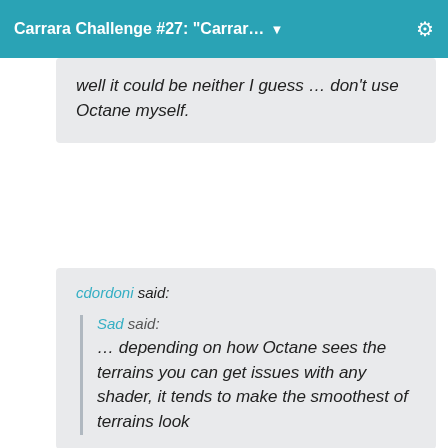Carrara Challenge #27: "Carrar…
well it could be neither I guess … don't use Octane myself.
cdordoni said:
Sad said:
… depending on how Octane sees the terrains you can get issues with any shader, it tends to make the smoothest of terrains look